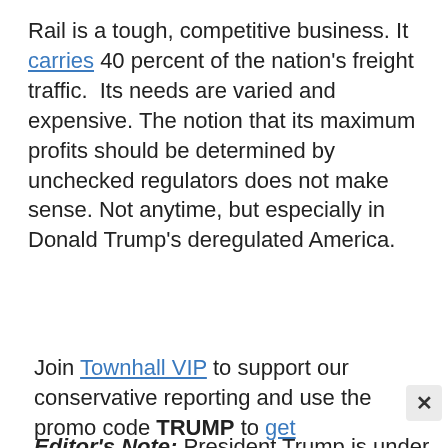Rail is a tough, competitive business. It carries 40 percent of the nation’s freight traffic.  Its needs are varied and expensive. The notion that its maximum profits should be determined by unchecked regulators does not make sense. Not anytime, but especially in Donald Trump’s deregulated America.
Editor’s Note: President Trump is under relentless attack from all sides. Help us defeat the leftist lies about him.
Join Townhall VIP to support our conservative reporting and use the promo code TRUMP to get